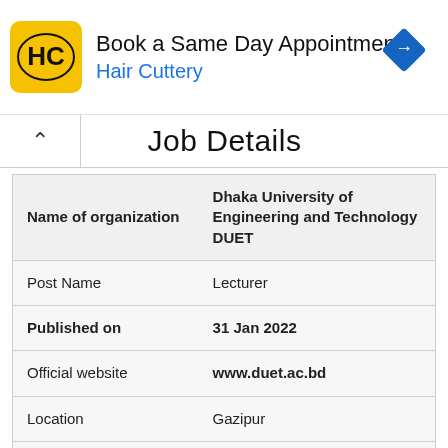[Figure (illustration): Hair Cuttery advertisement banner with yellow HC logo, text 'Book a Same Day Appointment' and 'Hair Cuttery' in blue, and a blue diamond navigation icon on the right]
Job Details
| Name of organization | Dhaka University of Engineering and Technology DUET |
| Post Name | Lecturer |
| Published on | 31 Jan 2022 |
| Official website | www.duet.ac.bd |
| Location | Gazipur |
| Salary | 22,000-53,060 BDT |
| Job Type | Govt job |
| vacancy | See circular below |
| Job Nature | Full time |